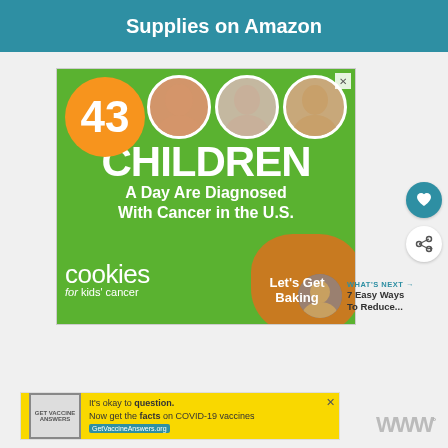Supplies on Amazon
[Figure (advertisement): Cookies for Kids Cancer advertisement. Shows '43 CHILDREN A Day Are Diagnosed With Cancer in the U.S.' with three children photos and a cookie image. 'Let's Get Baking']
[Figure (advertisement): COVID-19 vaccine information banner: 'It's okay to question. Now get the facts on COVID-19 vaccines GetVaccineAnswers.org']